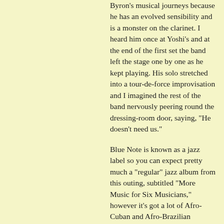Byron's musical journeys because he has an evolved sensibility and is a monster on the clarinet. I heard him once at Yoshi's and at the end of the first set the band left the stage one by one as he kept playing. His solo stretched into a tour-de-force improvisation and I imagined the rest of the band nervously peering round the dressing-room door, saying, "He doesn't need us."
Blue Note is known as a jazz label so you can expect pretty much a "regular" jazz album from this outing, subtitled "More Music for Six Musicians," however it's got a lot of Afro-Cuban and Afro-Brazilian rhythms and a few other surprises thrown in for good measure. Long-time Byron pianist Uri Caine has been replaced by Edsel Gomez (who has toured with him